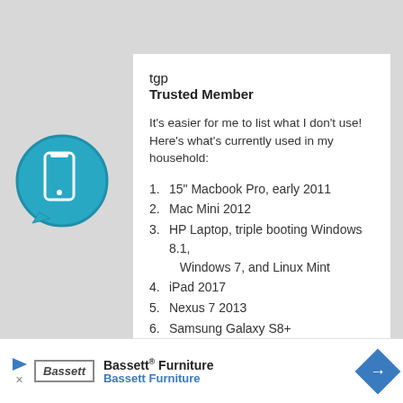tgp
Trusted Member
It's easier for me to list what I don't use! Here's what's currently used in my household:
1. 15" Macbook Pro, early 2011
2. Mac Mini 2012
3. HP Laptop, triple booting Windows 8.1, Windows 7, and Linux Mint
4. iPad 2017
5. Nexus 7 2013
6. Samsung Galaxy S8+
7. Samsung Galaxy S7
8. Nexus 5X
9. Moto G4
10. Microsoft Lumia 650
Bassett® Furniture / Bassett Furniture